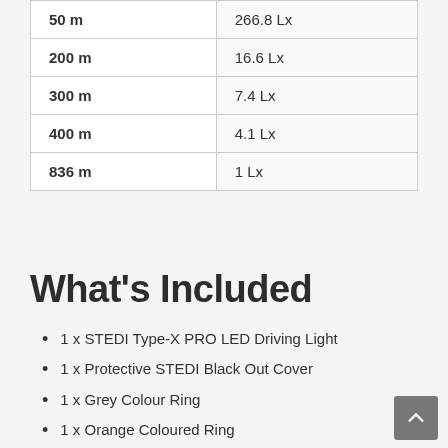| Distance | Illuminance |
| --- | --- |
| 50 m | 266.8 Lx |
| 200 m | 16.6 Lx |
| 300 m | 7.4 Lx |
| 400 m | 4.1 Lx |
| 836 m | 1 Lx |
What's Included
1 x STEDI Type-X PRO LED Driving Light
1 x Protective STEDI Black Out Cover
1 x Grey Colour Ring
1 x Orange Coloured Ring
Complete Stainless Steel fastener kit